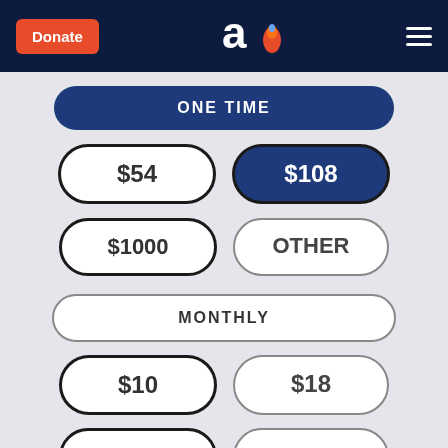Donate | [logo] | [menu]
ONE TIME
$54
$108
$1000
OTHER
MONTHLY
$10
$18
$100
OTHER
DONATE NOW >